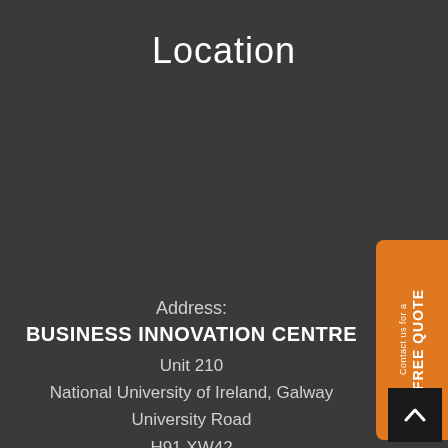Location
Address:
BUSINESS INNOVATION CENTRE
Unit 210
National University of Ireland, Galway
University Road
H91 XW42
☎ +353 91 393 310
[Figure (other): Orange vertical badge on right side reading 'Contact us for a FREE QUOTE' rotated vertically]
[Figure (other): Dark scroll-to-top button with upward chevron arrow in bottom right corner]